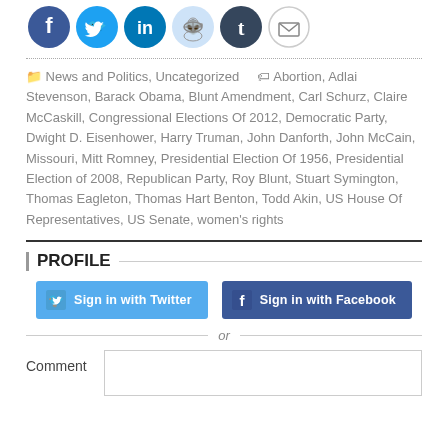[Figure (other): Social sharing icons: Facebook, Twitter, LinkedIn, Reddit, Tumblr, Email]
News and Politics, Uncategorized   Abortion, Adlai Stevenson, Barack Obama, Blunt Amendment, Carl Schurz, Claire McCaskill, Congressional Elections Of 2012, Democratic Party, Dwight D. Eisenhower, Harry Truman, John Danforth, John McCain, Missouri, Mitt Romney, Presidential Election Of 1956, Presidential Election of 2008, Republican Party, Roy Blunt, Stuart Symington, Thomas Eagleton, Thomas Hart Benton, Todd Akin, US House Of Representatives, US Senate, women's rights
PROFILE
Sign in with Twitter
Sign in with Facebook
or
Comment